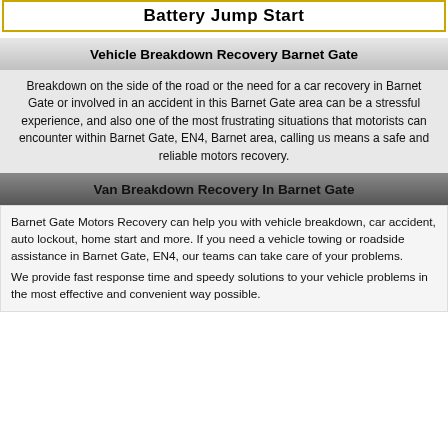Battery Jump Start
Vehicle Breakdown Recovery Barnet Gate
Breakdown on the side of the road or the need for a car recovery in Barnet Gate or involved in an accident in this Barnet Gate area can be a stressful experience, and also one of the most frustrating situations that motorists can encounter within Barnet Gate, EN4, Barnet area, calling us means a safe and reliable motors recovery.
Van Breakdown Recovery In Barnet Gate
Barnet Gate Motors Recovery can help you with vehicle breakdown, car accident, auto lockout, home start and more. If you need a vehicle towing or roadside assistance in Barnet Gate, EN4, our teams can take care of your problems.
We provide fast response time and speedy solutions to your vehicle problems in the most effective and convenient way possible.